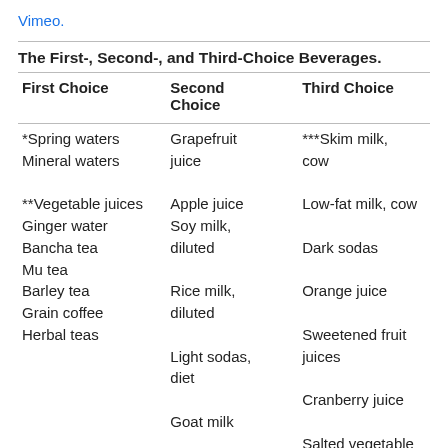Vimeo.
The First-, Second-, and Third-Choice Beverages.
| First Choice | Second Choice | Third Choice |
| --- | --- | --- |
| *Spring waters
Mineral waters

**Vegetable juices
Ginger water
Bancha tea
Mu tea
Barley tea
Grain coffee
Herbal teas | Grapefruit juice
Apple juice
Soy milk, diluted
Rice milk, diluted
Light sodas, diet
Goat milk | ***Skim milk, cow
Low-fat milk, cow
Dark sodas
Orange juice
Sweetened fruit juices
Cranberry juice
Salted vegetable juices |